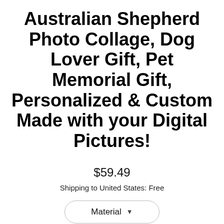Australian Shepherd Photo Collage, Dog Lover Gift, Pet Memorial Gift, Personalized & Custom Made with your Digital Pictures!
$59.49
Shipping to United States: Free
Material
Processing Time
Add to cart